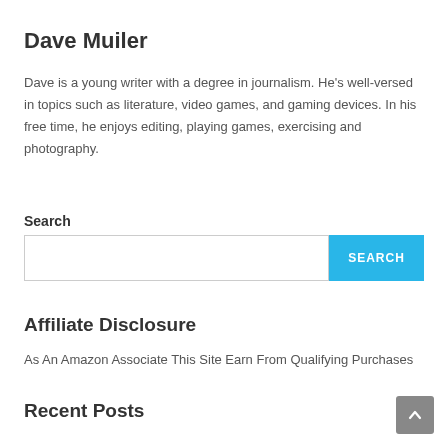Dave Muiler
Dave is a young writer with a degree in journalism. He's well-versed in topics such as literature, video games, and gaming devices. In his free time, he enjoys editing, playing games, exercising and photography.
Search
Affiliate Disclosure
As An Amazon Associate This Site Earn From Qualifying Purchases
Recent Posts